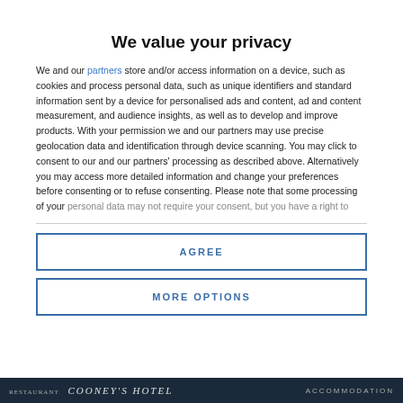We value your privacy
We and our partners store and/or access information on a device, such as cookies and process personal data, such as unique identifiers and standard information sent by a device for personalised ads and content, ad and content measurement, and audience insights, as well as to develop and improve products. With your permission we and our partners may use precise geolocation data and identification through device scanning. You may click to consent to our and our partners' processing as described above. Alternatively you may access more detailed information and change your preferences before consenting or to refuse consenting. Please note that some processing of your personal data may not require your consent, but you have a right to
AGREE
MORE OPTIONS
RESTAURANT  COONEY'S HOTEL  ACCOMMODATION